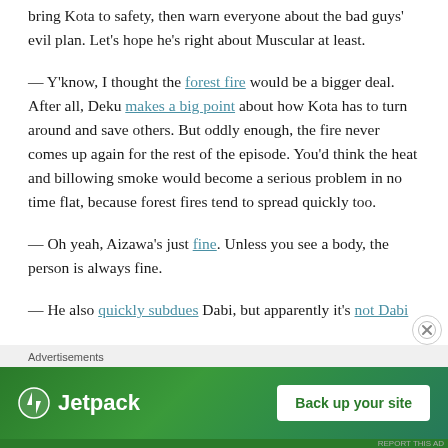bring Kota to safety, then warn everyone about the bad guys' evil plan. Let's hope he's right about Muscular at least.
— Y'know, I thought the forest fire would be a bigger deal. After all, Deku makes a big point about how Kota has to turn around and save others. But oddly enough, the fire never comes up again for the rest of the episode. You'd think the heat and billowing smoke would become a serious problem in no time flat, because forest fires tend to spread quickly too.
— Oh yeah, Aizawa's just fine. Unless you see a body, the person is always fine.
— He also quickly subdues Dabi, but apparently it's not Dabi
[Figure (other): Jetpack advertisement banner with green background showing Jetpack logo and 'Back up your site' button]